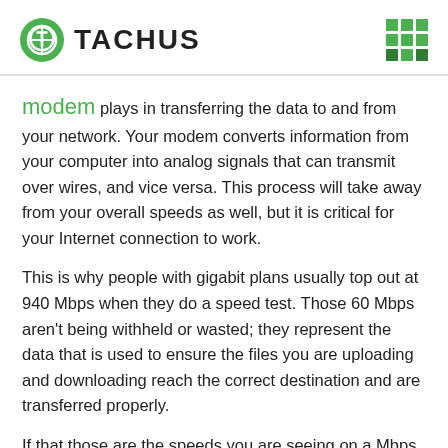TACHUS
modem plays in transferring the data to and from your network. Your modem converts information from your computer into analog signals that can transmit over wires, and vice versa. This process will take away from your overall speeds as well, but it is critical for your Internet connection to work.
This is why people with gigabit plans usually top out at 940 Mbps when they do a speed test. Those 60 Mbps aren't being withheld or wasted; they represent the data that is used to ensure the files you are uploading and downloading reach the correct destination and are transferred properly.
If that those are the speeds you are seeing on a Mbps plan, you can rest assured that you are using and benefitting from every single megabit per second that you are paying for. If